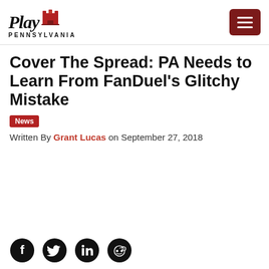Play Pennsylvania
Cover The Spread: PA Needs to Learn From FanDuel's Glitchy Mistake
News
Written By Grant Lucas on September 27, 2018